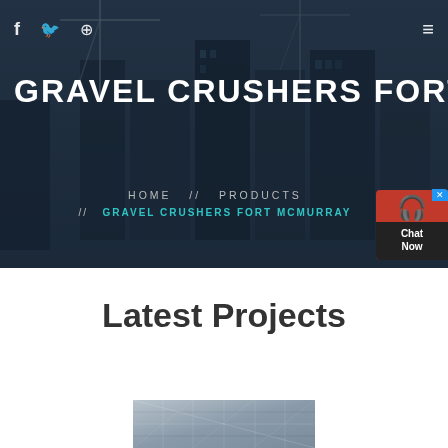[Figure (screenshot): Hero banner with construction/cranes city skyline background, dark overlay]
f  🐦  ⊕  ≡
GRAVEL CRUSHERS FORT MCMU
HOME  //  PRODUCTS  //  GRAVEL CRUSHERS FORT MCMURRAY
[Figure (infographic): Red and dark chat widget with headset icon, Chat Now text]
Latest Projects
[Figure (photo): Construction/industrial facility interior photo at bottom of page]